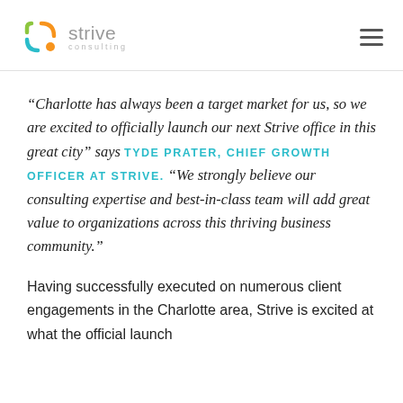Strive Consulting
“Charlotte has always been a target market for us, so we are excited to officially launch our next Strive office in this great city” says TYDE PRATER, CHIEF GROWTH OFFICER AT STRIVE. “We strongly believe our consulting expertise and best-in-class team will add great value to organizations across this thriving business community.”
Having successfully executed on numerous client engagements in the Charlotte area, Strive is excited at what the official launch